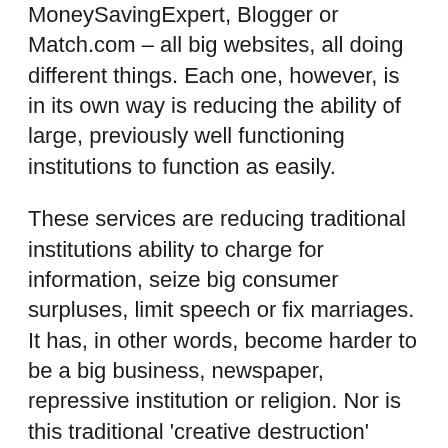MoneySavingExpert, Blogger or Match.com – all big websites, all doing different things. Each one, however, is in its own way is reducing the ability of large, previously well functioning institutions to function as easily.
These services are reducing traditional institutions ability to charge for information, seize big consumer surpluses, limit speech or fix marriages. It has, in other words, become harder to be a big business, newspaper, repressive institution or religion. Nor is this traditional 'creative destruction' going on in a normal capitalist economy: this isn't about one widget manufacturer replacing another, this is about a newspaper business dying and being replaced by no one single thing, and certainly nothing recognisable as a newspaper business.
This common pattern of more powerful tools for...